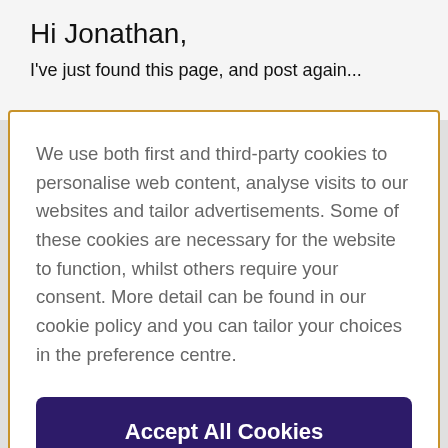Hi Jonathan,
I've just found this page, and post again...
We use both first and third-party cookies to personalise web content, analyse visits to our websites and tailor advertisements. Some of these cookies are necessary for the website to function, whilst others require your consent. More detail can be found in our cookie policy and you can tailor your choices in the preference centre.
Accept All Cookies
Cookies Settings